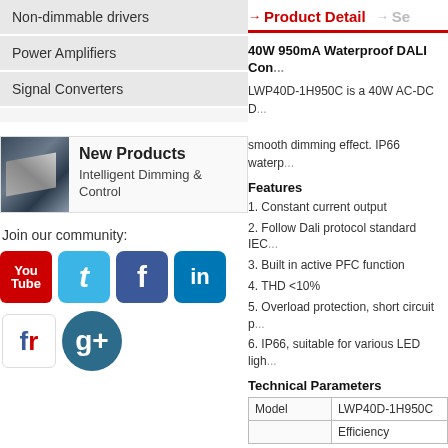Non-dimmable drivers
Power Amplifiers
Signal Converters
[Figure (photo): Photo of an LED driver product in a dark industrial/outdoor setting]
New Products
Intelligent Dimming & Control
Join our community:
[Figure (infographic): Social media icons: YouTube, Twitter, Facebook, LinkedIn, Flickr (fr), Google+]
Product Detail
Se...
40W 950mA Waterproof DALI Con...
LWP40D-1H950C is a 40W AC-DC D... smooth dimming effect. IP66 waterp...
Features
1. Constant current output
2. Follow Dali protocol standard IEC...
3. Built in active PFC function
4. THD <10%
5. Overload protection, short circuit p...
6. IP66, suitable for various LED ligh...
Technical Parameters
| Model | LWP40D-1H950C |
| --- | --- |
|  | Efficiency |